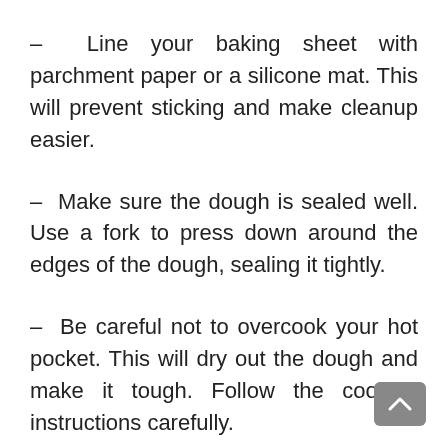– Line your baking sheet with parchment paper or a silicone mat. This will prevent sticking and make cleanup easier.
– Make sure the dough is sealed well. Use a fork to press down around the edges of the dough, sealing it tightly.
– Be careful not to overcook your hot pocket. This will dry out the dough and make it tough. Follow the cooking instructions carefully.